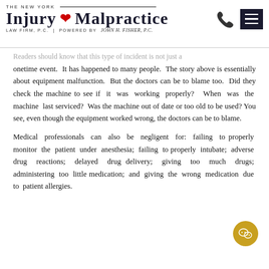THE NEW YORK INJURY & MALPRACTICE LAW FIRM, P.C. | POWERED BY JOHN H. FISHER, P.C.
Readers should know that this type of incident is not just a onetime event. It has happened to many people. The story above is essentially about equipment malfunction. But the doctors can be to blame too. Did they check the machine to see if it was working properly? When was the machine last serviced? Was the machine out of date or too old to be used? You see, even though the equipment worked wrong, the doctors can be to blame.
Medical professionals can also be negligent for: failing to properly monitor the patient under anesthesia; failing to properly intubate; adverse drug reactions; delayed drug delivery; giving too much drugs; administering too little medication; and giving the wrong medication due to patient allergies.